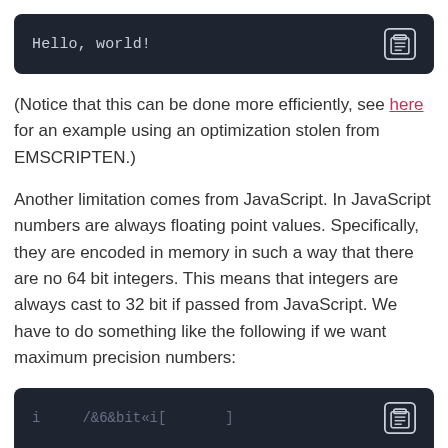[Figure (screenshot): Dark code block showing 'Hello, world!' with a clipboard icon on the right]
(Notice that this can be done more efficiently, see here for an example using an optimization stolen from EMSCRIPTEN.)
Another limitation comes from JavaScript. In JavaScript numbers are always floating point values. Specifically, they are encoded in memory in such a way that there are no 64 bit integers. This means that integers are always cast to 32 bit if passed from JavaScript. We have to do something like the following if we want maximum precision numbers:
[Figure (screenshot): Partial dark code block at the bottom of the page with clipboard icon]